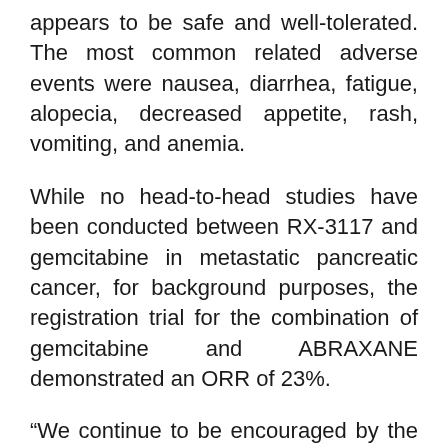appears to be safe and well-tolerated. The most common related adverse events were nausea, diarrhea, fatigue, alopecia, decreased appetite, rash, vomiting, and anemia.
While no head-to-head studies have been conducted between RX-3117 and gemcitabine in metastatic pancreatic cancer, for background purposes, the registration trial for the combination of gemcitabine and ABRAXANE demonstrated an ORR of 23%.
“We continue to be encouraged by the preliminary data from this study,” said Ely Benaim, M.D., chief medical officer of Rexahn. “Because most patients are still being treated in